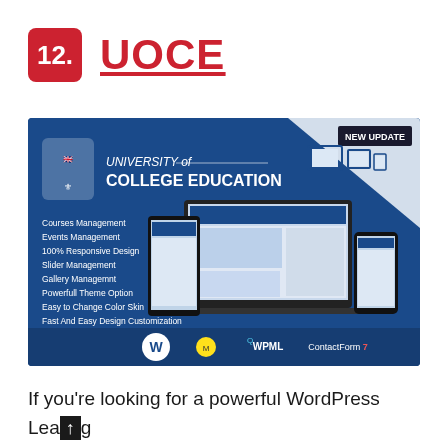12. UOCE
[Figure (screenshot): UOCE - University of College Education WordPress theme banner showing responsive design on laptop, tablet and mobile devices. Features listed: Courses Management, Events Management, 100% Responsive Design, Slider Management, Gallery Managemnt, Powerfull Theme Option, Easy to Change Color Skin, Fast And Easy Design Customization. Logos shown: WordPress, Mailchimp, WPML, ContactForm 7. NEW UPDATE badge in top right.]
If you're looking for a powerful WordPress Learning Management System, then look no further than